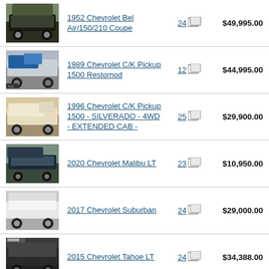1952 Chevrolet Bel Air/150/210 Coupe  24  $49,995.00
1989 Chevrolet C/K Pickup 1500 Restomod  12  $44,995.00
1996 Chevrolet C/K Pickup 1500 - SILVERADO - 4WD - EXTENDED CAB -  25  $29,900.00
2020 Chevrolet Malibu LT  23  $10,950.00
2017 Chevrolet Suburban  24  $29,000.00
2015 Chevrolet Tahoe LT  24  $34,388.00